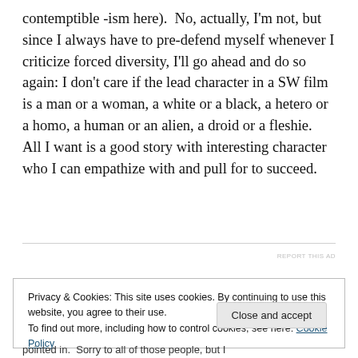contemptible -ism here). No, actually, I'm not, but since I always have to pre-defend myself whenever I criticize forced diversity, I'll go ahead and do so again: I don't care if the lead character in a SW film is a man or a woman, a white or a black, a hetero or a homo, a human or an alien, a droid or a fleshie. All I want is a good story with interesting character who I can empathize with and pull for to succeed.
REPORT THIS AD
Privacy & Cookies: This site uses cookies. By continuing to use this website, you agree to their use.
To find out more, including how to control cookies, see here: Cookie Policy
Close and accept
pointed in. Sorry to all of those people, but I